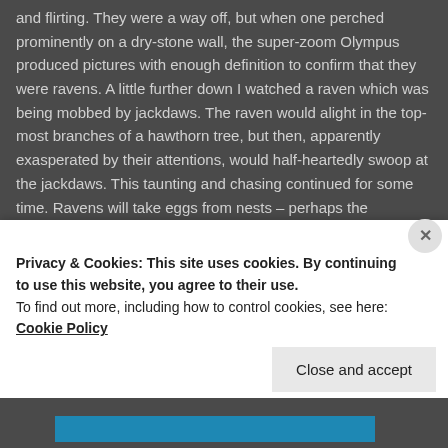and flirting. They were a way off, but when one perched prominently on a dry-stone wall, the super-zoom Olympus produced pictures with enough definition to confirm that they were ravens. A little further down I watched a raven which was being mobbed by jackdaws. The raven would alight in the top-most branches of a hawthorn tree, but then, apparently exasperated by their attentions, would half-heartedly swoop at the jackdaws. This taunting and chasing continued for some time. Ravens will take eggs from nests – perhaps the jackdaws were defending theirs?

When I did emerge into sunshine again, it was on the day's second viaduct: the Smardalegill viaduct. From which there was a lovely view along Scandal Beck (I know – it ought to be Smardale Gill surely?) to Green Bell and Knoutberry on the
Privacy & Cookies: This site uses cookies. By continuing to use this website, you agree to their use.
To find out more, including how to control cookies, see here: Cookie Policy
Close and accept